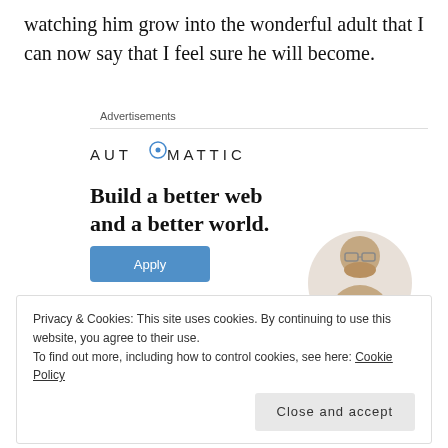watching him grow into the wonderful adult that I can now say that I feel sure he will become.
Advertisements
[Figure (other): Automattic advertisement banner with logo, headline 'Build a better web and a better world.', Apply button, and person photo in circle]
Privacy & Cookies: This site uses cookies. By continuing to use this website, you agree to their use.
To find out more, including how to control cookies, see here: Cookie Policy